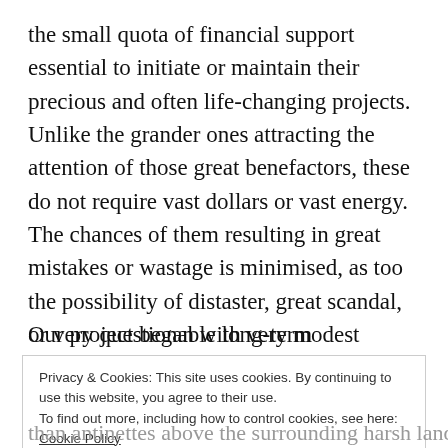the small quota of financial support essential to initiate or maintain their precious and often life-changing projects. Unlike the grander ones attracting the attention of those great benefactors, these do not require vast dollars or vast energy. The chances of them resulting in great mistakes or wastage is minimised, as too the possibility of distaster, great scandal, or very questionable long-term sustainable consequences.
Our project began with very modest resources, including a
Privacy & Cookies: This site uses cookies. By continuing to use this website, you agree to their use.
To find out more, including how to control cookies, see here: Cookie Policy
Close and accept
than antinettes above the surrounding harsh landscape